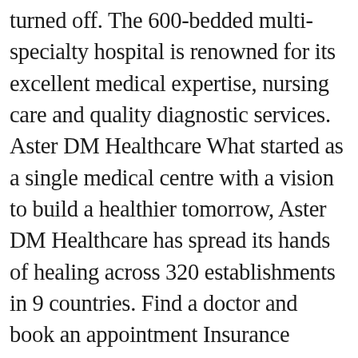turned off. The 600-bedded multi-specialty hospital is renowned for its excellent medical expertise, nursing care and quality diagnostic services. Aster DM Healthcare What started as a single medical centre with a vision to build a healthier tomorrow, Aster DM Healthcare has spread its hands of healing across 320 establishments in 9 countries. Find a doctor and book an appointment Insurance Status Frequently asked questions FOR QUERIES- … At Aster Aadhar Hospital Kolhapur, we believe patients should have access to nothing but the best in healthcare facilities. If you need assistance with this Patient Portal, please call 404-501-1107 . Aster MIMS offers the specialist advice, supported by a comprehensive range of round the clock hospital services, which can address all of your company's healthcare needs. Hence, the center features extensive e-health facilities. Aster Clinic, Sanad Besides New Indian School, Al Estiklal highway. It is also an easy way to